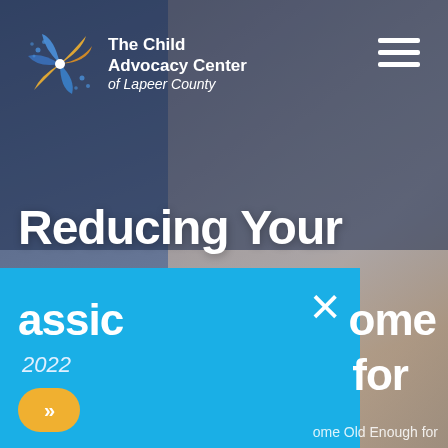[Figure (screenshot): Website screenshot of The Child Advocacy Center of Lapeer County homepage. Features a pinwheel logo in top left, organization name in white text, hamburger menu top right, a background photo of a blonde child, 'Reducing Your' heading in large white bold text, a blue overlay panel with partial 'Classic' text and '2022' year, a yellow arrow button, a large X close button, partial 'come' and 'for' text on the right, and partial caption text at bottom reading 'come Old Enough for'.]